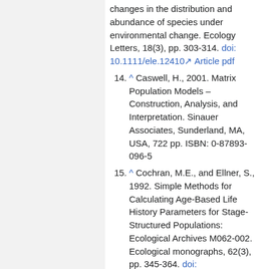changes in the distribution and abundance of species under environmental change. Ecology Letters, 18(3), pp. 303-314. doi: 10.1111/ele.12410 Article pdf
14. ^ Caswell, H., 2001. Matrix Population Models – Construction, Analysis, and Interpretation. Sinauer Associates, Sunderland, MA, USA, 722 pp. ISBN: 0-87893-096-5
15. ^ Cochran, M.E., and Ellner, S., 1992. Simple Methods for Calculating Age-Based Life History Parameters for Stage-Structured Populations: Ecological Archives M062-002. Ecological monographs, 62(3), pp. 345-364. doi: